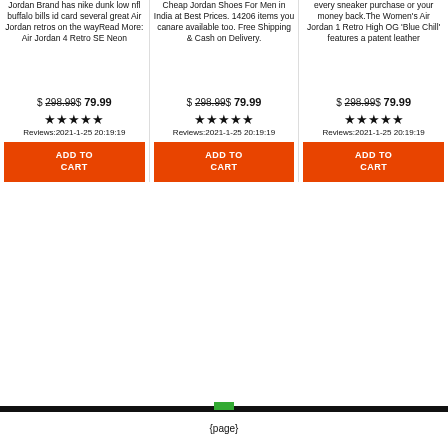Jordan Brand has nike dunk low nfl buffalo bills id card several great Air Jordan retros on the wayRead More: Air Jordan 4 Retro SE Neon
Cheap Jordan Shoes For Men in India at Best Prices. 14206 items you canare available too. Free Shipping & Cash on Delivery.
every sneaker purchase or your money back.The Women's Air Jordan 1 Retro High OG 'Blue Chill' features a patent leather
$ 298.99$ 79.99
$ 298.99$ 79.99
$ 298.99$ 79.99
★★★★★ Reviews:2021-1-25 20:19:19
★★★★★ Reviews:2021-1-25 20:19:19
★★★★★ Reviews:2021-1-25 20:19:19
ADD TO CART
ADD TO CART
ADD TO CART
{page}